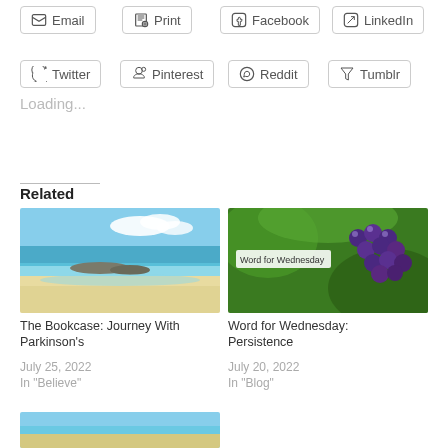Email
Print
Facebook
LinkedIn
Twitter
Pinterest
Reddit
Tumblr
Loading...
Related
[Figure (photo): Beach scene with turquoise water, white sand, and blue sky with clouds]
[Figure (photo): Close-up of dark purple grapes on vine with green leaves, with 'Word for Wednesday' badge overlay]
The Bookcase: Journey With Parkinson's
July 25, 2022
In "Believe"
Word for Wednesday: Persistence
July 20, 2022
In "Blog"
[Figure (photo): Partial image at bottom, appears to be a coastal or beach scene]